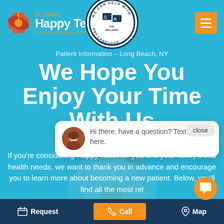[Figure (logo): Dr. Glen's Happy Teeth dental practice logo with hibiscus flower icon and tagline 'Be Good, Be Happy and Brush!' on teal background]
[Figure (infographic): Circular badge reading 'WE CAN HELP WITH ANY LANGUAGE' with translation icons and 'ASL INCLUDED' text in center]
[Figure (other): Orange hamburger menu button (three horizontal lines)]
Patient Information – Long Beach, NY
We Hope You Enjoy Your Time With Us
If you're considering Happy Teeth for you and your family's oral health needs, we want to thank you in advance and encourage you to learn more about becoming a new patient. Below, you'll find all the most rel
[Figure (screenshot): Chat popup with female avatar and message: 'Hi there, have a question? Text us here.' with a close button]
Request   Call   Map